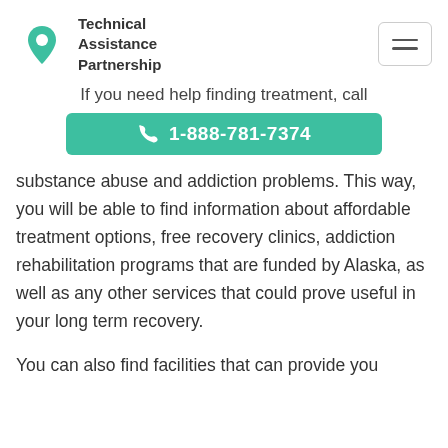Technical Assistance Partnership
If you need help finding treatment, call
1-888-781-7374
substance abuse and addiction problems. This way, you will be able to find information about affordable treatment options, free recovery clinics, addiction rehabilitation programs that are funded by Alaska, as well as any other services that could prove useful in your long term recovery.
You can also find facilities that can provide you